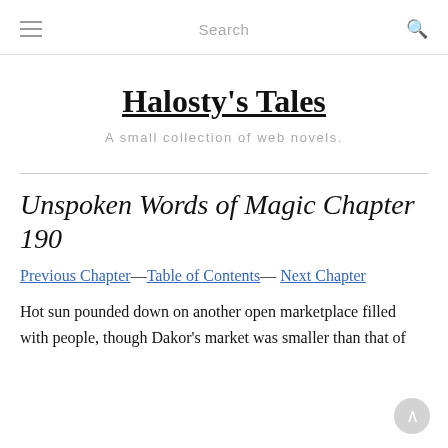≡  Search  🔍
Halosty's Tales
A small collection of web novels.
Unspoken Words of Magic Chapter 190
Previous Chapter––Table of Contents–– Next Chapter
Hot sun pounded down on another open marketplace filled with people, though Dakor's market was smaller than that of